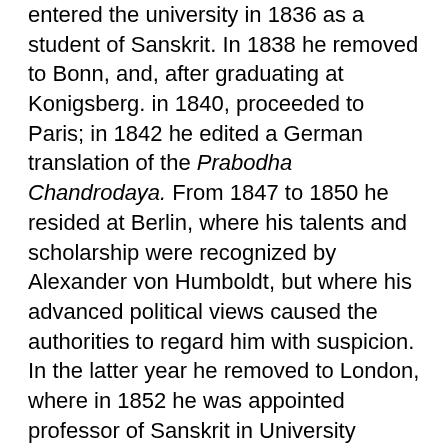entered the university in 1836 as a student of Sanskrit. In 1838 he removed to Bonn, and, after graduating at Konigsberg. in 1840, proceeded to Paris; in 1842 he edited a German translation of the Prabodha Chandrodaya. From 1847 to 1850 he resided at Berlin, where his talents and scholarship were recognized by Alexander von Humboldt, but where his advanced political views caused the authorities to regard him with suspicion. In the latter year he removed to London, where in 1852 he was appointed professor of Sanskrit in University College. He now worked on a new Sanskrit dictionary, of which the first instalment appeared in 1856. In 1861 he published his chief work: Pdnini: his place in Sanskrit Literature; and he was one of the founders and chief promoters of the Sanskrit Text Society; he was also an active member of the Philological Society, and of other learned bodies. He died in